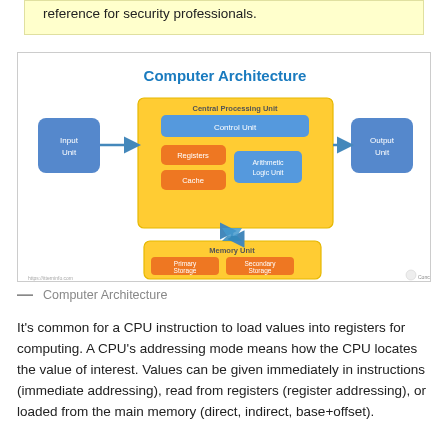reference for security professionals.
[Figure (engineering-diagram): Computer Architecture diagram showing Input Unit connected via arrow to Central Processing Unit (containing Control Unit, Registers, Cache, and Arithmetic Logic Unit), connected via arrow to Output Unit, with a double-headed arrow connecting to Memory Unit below (containing Primary Storage and Secondary Storage).]
— Computer Architecture
It's common for a CPU instruction to load values into registers for computing. A CPU's addressing mode means how the CPU locates the value of interest. Values can be given immediately in instructions (immediate addressing), read from registers (register addressing), or loaded from the main memory (direct, indirect, base+offset).